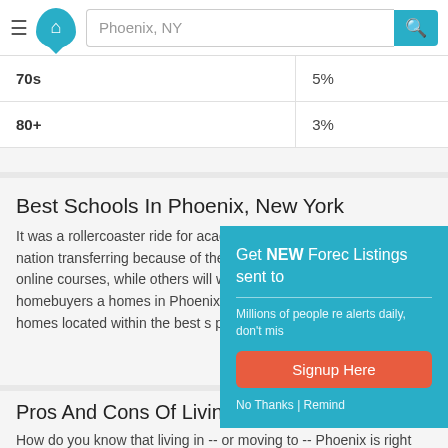Phoenix, NY
| Age Group | Percentage |
| --- | --- |
| 70s | 5% |
| 80+ | 3% |
Best Schools In Phoenix, New York
It was a rollercoaster ride for academics in districts throughout the nation transferring because of the global pandemic. Numerous continue online courses, while others will w back to campus. Regardless, homebuyers a homes in Phoenix with dedicated in-home well as for homes located within the best s person instruction in Phoenix.
Pros And Cons Of Living In Phoenix, New York
How do you know that living in -- or moving to -- Phoenix is right